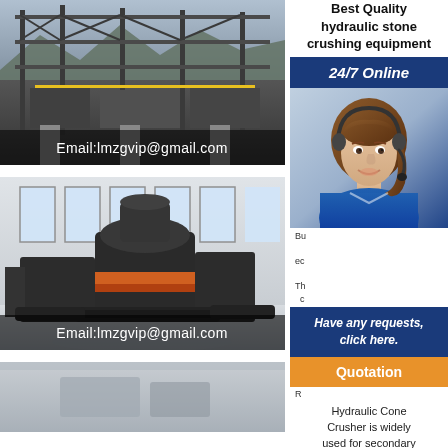[Figure (photo): Industrial stone crushing facility with steel scaffolding structure, outdoor setting with mountains in background, email overlay text]
Email:lmzgvip@gmail.com
[Figure (photo): Hydraulic cone crusher machine in indoor factory setting, large industrial equipment with orange and black coloring]
Email:lmzgvip@gmail.com
[Figure (photo): Partial view of third industrial equipment image]
Best Quality hydraulic stone crushing equipment
24/7 Online
[Figure (photo): Customer service agent woman wearing headset, smiling, in blue uniform]
Have any requests, click here.
Quotation
Hydraulic Cone Crusher is widely used for secondary and fine crushing in
Mobile Crusher For Sale Mobile